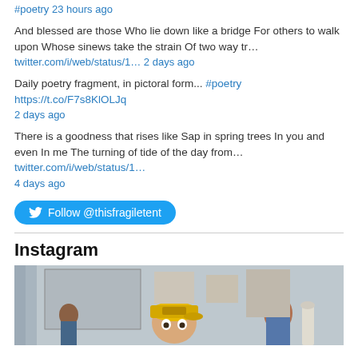#poetry 23 hours ago
And blessed are those Who lie down like a bridge For others to walk upon Whose sinews take the strain Of two way tr… twitter.com/i/web/status/1… 2 days ago
Daily poetry fragment, in pictoral form... #poetry https://t.co/F7s8KlOLJq 2 days ago
There is a goodness that rises like Sap in spring trees In you and even In me The turning of tide of the day from… twitter.com/i/web/status/1… 4 days ago
[Figure (other): Twitter Follow @thisfragiletent button]
Instagram
[Figure (photo): Instagram photo showing a man with a yellow cap peeking up, in an art studio setting with other people and artworks visible in the background]